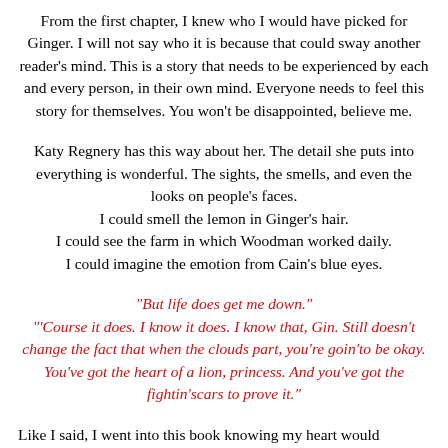From the first chapter, I knew who I would have picked for Ginger. I will not say who it is because that could sway another reader's mind. This is a story that needs to be experienced by each and every person, in their own mind. Everyone needs to feel this story for themselves. You won't be disappointed, believe me.
Katy Regnery has this way about her. The detail she puts into everything is wonderful. The sights, the smells, and even the looks on people's faces. I could smell the lemon in Ginger's hair. I could see the farm in which Woodman worked daily. I could imagine the emotion from Cain's blue eyes.
"But life does get me down." "'Course it does. I know it does. I know that, Gin. Still doesn't change the fact that when the clouds part, you're goin'to be okay. You've got the heart of a lion, princess. And you've got the fightin'scars to prove it."
Like I said, I went into this book knowing my heart would